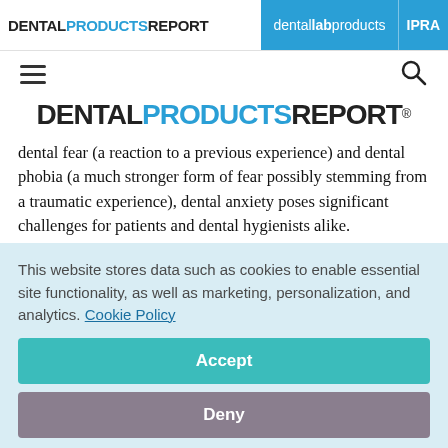DENTAL PRODUCTS REPORT | dental lab products | IPRA
[Figure (logo): Dental Products Report logo with navigation bar including dental lab products and IPRA links]
[Figure (logo): DENTAL PRODUCTS REPORT large masthead logo]
dental fear (a reaction to a previous experience) and dental phobia (a much stronger form of fear possibly stemming from a traumatic experience), dental anxiety poses significant challenges for patients and dental hygienists alike.
This website stores data such as cookies to enable essential site functionality, as well as marketing, personalization, and analytics. Cookie Policy
Accept
Deny